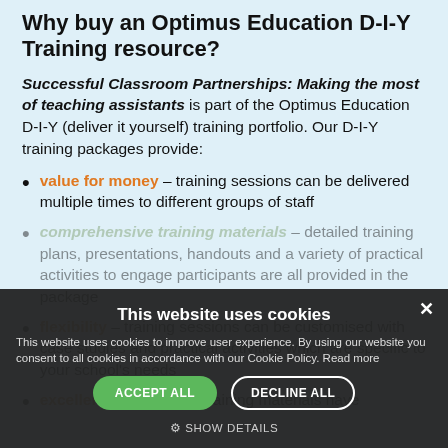Why buy an Optimus Education D-I-Y Training resource?
Successful Classroom Partnerships: Making the most of teaching assistants is part of the Optimus Education D-I-Y (deliver it yourself) training portfolio. Our D-I-Y training packages provide:
value for money – training sessions can be delivered multiple times to different groups of staff
comprehensive training materials – detailed training plans, presentations, handouts and a variety of practical activities to engage participants are all provided in the package
flexibility – training sessions can be customised with case studies and practical activities which are specific to your school's needs
excellent quality – the training materials have
This website uses cookies
This website uses cookies to improve user experience. By using our website you consent to all cookies in accordance with our Cookie Policy. Read more
ACCEPT ALL   DECLINE ALL
⚙ SHOW DETAILS